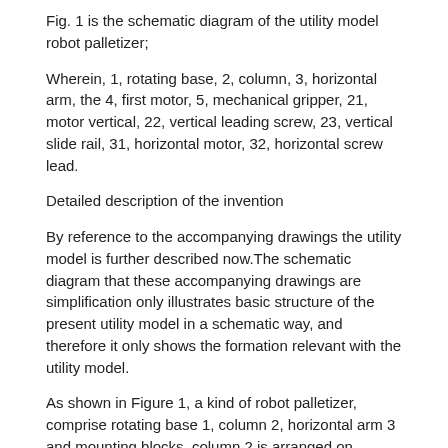Fig. 1 is the schematic diagram of the utility model robot palletizer;
Wherein, 1, rotating base, 2, column, 3, horizontal arm, the 4, first motor, 5, mechanical gripper, 21, motor vertical, 22, vertical leading screw, 23, vertical slide rail, 31, horizontal motor, 32, horizontal screw lead.
Detailed description of the invention
By reference to the accompanying drawings the utility model is further described now.The schematic diagram that these accompanying drawings are simplification only illustrates basic structure of the present utility model in a schematic way, and therefore it only shows the formation relevant with the utility model.
As shown in Figure 1, a kind of robot palletizer, comprise rotating base 1, column 2, horizontal arm 3 and mounting blocks, column 2 is arranged on rotating base 1, horizontal arm 3 level is arranged on column 2, column 2 is provided with the up-down adjustment mechanism moved up and down for level of control arm 3; Mounting blocks moves and is arranged on horizontal arm 3, horizontal arm 3 is